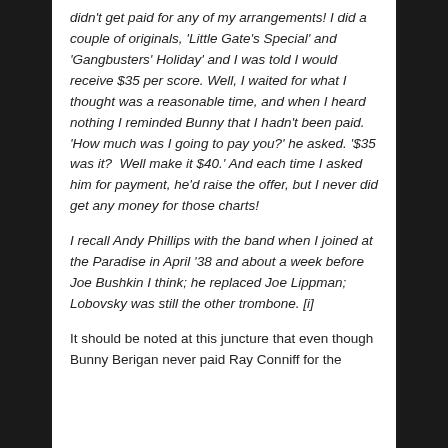didn't get paid for any of my arrangements! I did a couple of originals, 'Little Gate's Special' and 'Gangbusters' Holiday' and I was told I would receive $35 per score. Well, I waited for what I thought was a reasonable time, and when I heard nothing I reminded Bunny that I hadn't been paid. 'How much was I going to pay you?' he asked. '$35 was it? Well make it $40.' And each time I asked him for payment, he'd raise the offer, but I never did get any money for those charts!
I recall Andy Phillips with the band when I joined at the Paradise in April '38 and about a week before Joe Bushkin I think; he replaced Joe Lippman; Lobovsky was still the other trombone. [i]
It should be noted at this juncture that even though Bunny Berigan never paid Ray Conniff for the